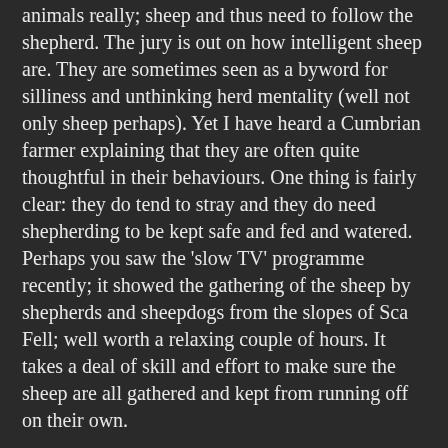animals really; sheep and thus need to follow the shepherd. The jury is out on how intelligent sheep are. They are sometimes seen as a byword for silliness and unthinking herd mentality (well not only sheep perhaps). Yet I have heard a Cumbrian farmer explaining that they are often quite thoughtful in their behaviours. One thing is fairly clear: they do tend to stray and they do need shepherding to be kept safe and fed and watered. Perhaps you saw the 'slow TV' programme recently; it showed the gathering of the sheep by shepherds and sheepdogs from the slopes of Sca Fell; well worth a relaxing couple of hours. It takes a deal of skill and effort to make sure the sheep are all gathered and kept from running off on their own.
Jesus makes great play on the need of the sheep to respond to the voice of the shepherd. He is speaking against the background of the sheep farming society of